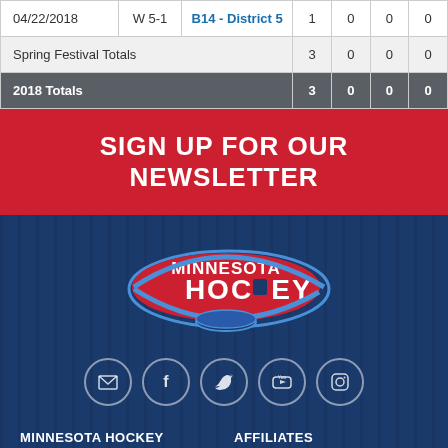| Date | Result | Tournament | G | A | PTS | PIM |
| --- | --- | --- | --- | --- | --- | --- |
| 04/22/2018 | W 5-1 | B14 - District 5 | 1 | 0 | 0 | 0 |
| Spring Festival Totals |  |  | 3 | 0 | 0 | 0 |
| 2018 Totals |  |  | 3 | 0 | 0 | 0 |
SIGN UP FOR OUR NEWSLETTER
[Figure (logo): Minnesota Hockey logo with puck graphic]
Social media icons: email, facebook, twitter, youtube, instagram
MINNESOTA HOCKEY
AFFILIATES
Register